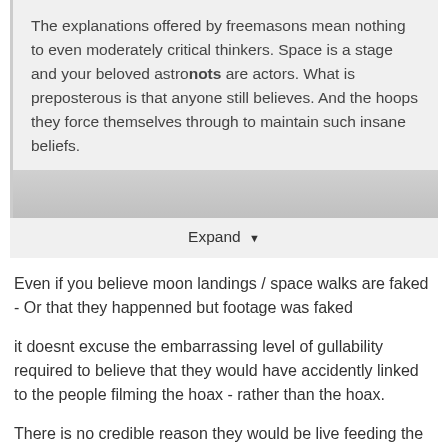The explanations offered by freemasons mean nothing to even moderately critical thinkers. Space is a stage and your beloved astronots are actors. What is preposterous is that anyone still believes. And the hoops they force themselves through to maintain such insane beliefs.
[Figure (other): Partially visible image with gray gradient overlay, collapsed behind an Expand button]
Expand ▼
Even if you believe moon landings / space walks are faked - Or that they happenned but footage was faked
it doesnt excuse the embarrassing level of gullability required to believe that they would have accidently linked to the people filming the hoax - rather than the hoax.
There is no credible reason they would be live feeding the filming of the hoax - by even giveing that moronic video credibility you are embarrasing yourself - undermining your arguments (since you clearly dont think you simply parrot whatever  you hear if its